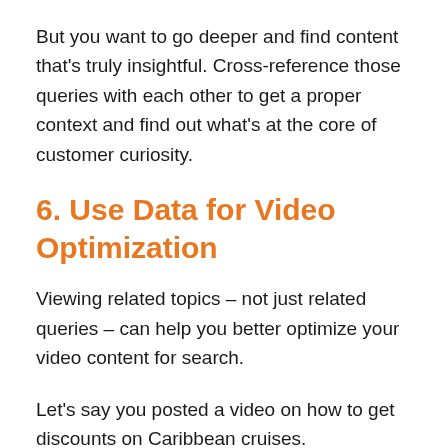But you want to go deeper and find content that's truly insightful. Cross-reference those queries with each other to get a proper context and find out what's at the core of customer curiosity.
6. Use Data for Video Optimization
Viewing related topics – not just related queries – can help you better optimize your video content for search.
Let's say you posted a video on how to get discounts on Caribbean cruises.
Enter in your search term.